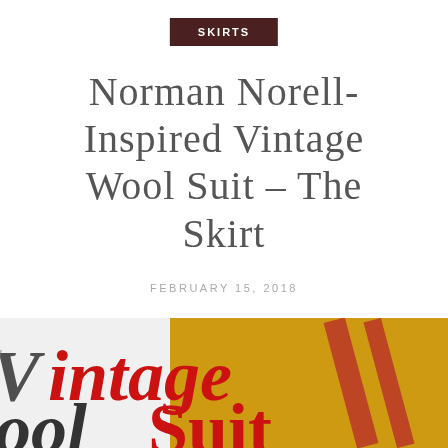SKIRTS
Norman Norell-Inspired Vintage Wool Suit – The Skirt
FEBRUARY 15, 2018
[Figure (photo): Magazine cover close-up showing a yellow wool jacket with red stripes and overlaid large bold text reading 'Vintage Wool Suit' in dark and red serif italic font]